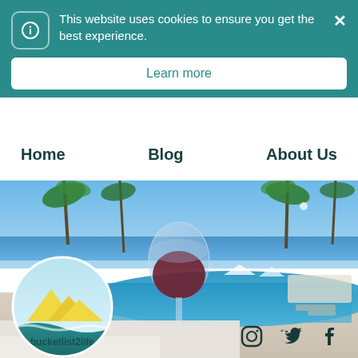This website uses cookies to ensure you get the best experience.
Learn more
Home
Blog
About Us
[Figure (photo): A glass of red wine in the foreground overlooking a resort pool with palm trees and the sea in the background. The bucketlist2life logo (a circle with mountains and ocean waves) is overlaid in the lower left.]
bucketlist2life